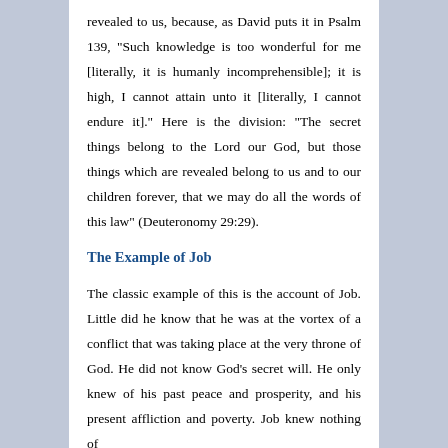revealed to us, because, as David puts it in Psalm 139, "Such knowledge is too wonderful for me [literally, it is humanly incomprehensible]; it is high, I cannot attain unto it [literally, I cannot endure it]." Here is the division: "The secret things belong to the Lord our God, but those things which are revealed belong to us and to our children forever, that we may do all the words of this law" (Deuteronomy 29:29).
The Example of Job
The classic example of this is the account of Job. Little did he know that he was at the vortex of a conflict that was taking place at the very throne of God. He did not know God's secret will. He only knew of his past peace and prosperity, and his present affliction and poverty. Job knew nothing of